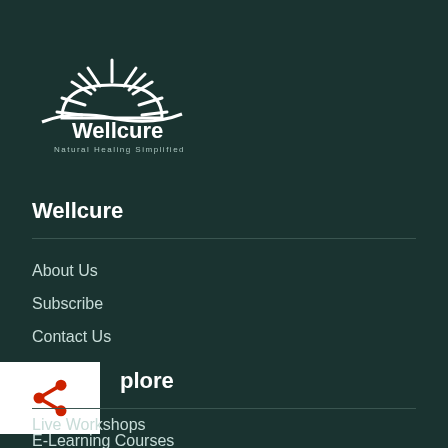[Figure (logo): Wellcure logo with rising sun icon, text 'Wellcure' and tagline 'Natural Healing Simplified']
Wellcure
About Us
Subscribe
Contact Us
Explore
Live Workshops
E-Learning Courses